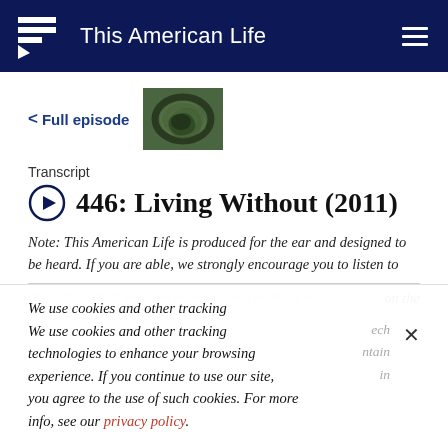This American Life
< Full episode
Transcript
446: Living Without (2011)
Note: This American Life is produced for the ear and designed to be heard. If you are able, we strongly encourage you to listen to the audio, which includes emotion and emphasis not on the page. Transcripts are generated using a combination of speech recognition software and human transcribers, and may contain errors. Please check the corresponding audio before quoting in print.
We use cookies and other tracking technologies to enhance your browsing experience. If you continue to use our site, you agree to the use of such cookies. For more info, see our privacy policy.